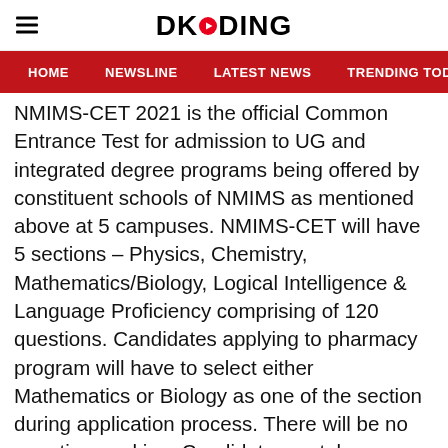DKODING
HOME | NEWSLINE | LATEST NEWS | TRENDING TODAY | ENT
NMIMS-CET 2021 is the official Common Entrance Test for admission to UG and integrated degree programs being offered by constituent schools of NMIMS as mentioned above at 5 campuses. NMIMS-CET will have 5 sections – Physics, Chemistry, Mathematics/Biology, Logical Intelligence & Language Proficiency comprising of 120 questions. Candidates applying to pharmacy program will have to select either Mathematics or Biology as one of the section during application process. There will be no negative marking. Candidate can take maximum 2 attempts and best of two scores will be considered for selection process.